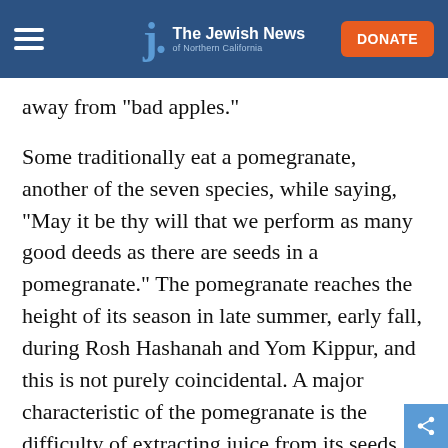The Jewish News of Northern California
away from "bad apples."
Some traditionally eat a pomegranate, another of the seven species, while saying, "May it be thy will that we perform as many good deeds as there are seeds in a pomegranate." The pomegranate reaches the height of its season in late summer, early fall, during Rosh Hashanah and Yom Kippur, and this is not purely coincidental. A major characteristic of the pomegranate is the difficulty of extracting juice from its seeds. This alludes well to mitzvot, which have to be fulfilled in great number and very diligently in order to be